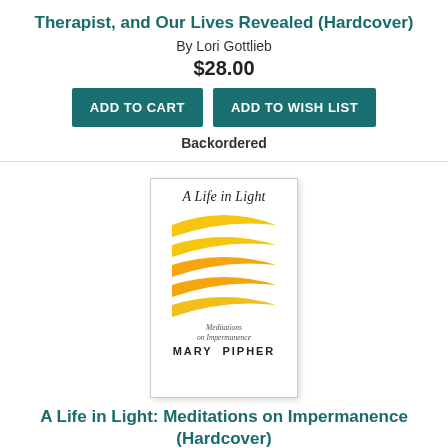Therapist, and Our Lives Revealed (Hardcover)
By Lori Gottlieb
$28.00
ADD TO CART | ADD TO WISH LIST
Backordered
[Figure (illustration): Book cover of 'A Life in Light: Meditations on Impermanence' by Mary Pipher. White cover with italic title at top, five curved yellow/orange arc shapes in the middle, handwritten-style subtitle 'Meditations on Impermanence', and author name MARY PIPHER at bottom.]
A Life in Light: Meditations on Impermanence (Hardcover)
By Mary Pipher
$28.00
ADD TO CART | ADD TO WISH LIST